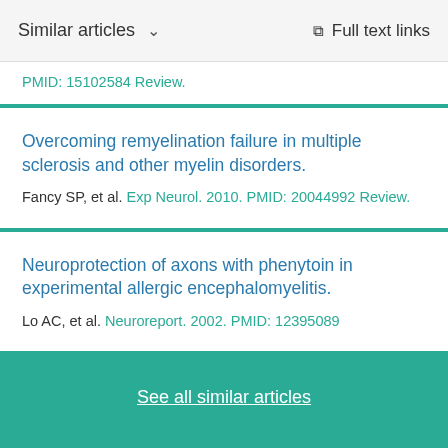Similar articles   Full text links
PMID: 15102584 Review.
Overcoming remyelination failure in multiple sclerosis and other myelin disorders.
Fancy SP, et al. Exp Neurol. 2010. PMID: 20044992 Review.
Neuroprotection of axons with phenytoin in experimental allergic encephalomyelitis.
Lo AC, et al. Neuroreport. 2002. PMID: 12395089
See all similar articles